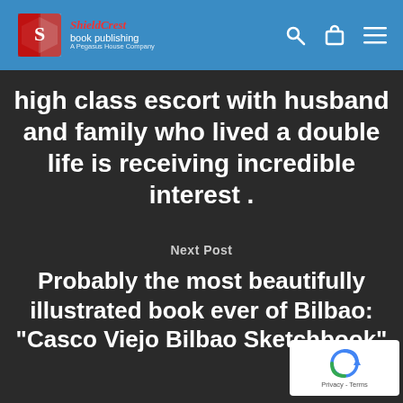ShieldCrest book publishing — A Pegasus House Company
high class escort with husband and family who lived a double life is receiving incredible interest .
Next Post
Probably the most beautifully illustrated book ever of Bilbao: "Casco Viejo Bilbao Sketchbook"
[Figure (logo): reCAPTCHA badge with Google logo and Privacy - Terms text]